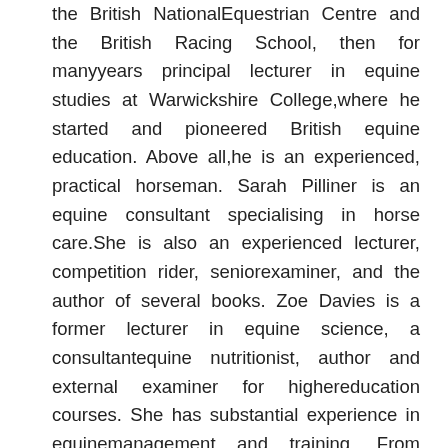the British NationalEquestrian Centre and the British Racing School, then for manyyears principal lecturer in equine studies at Warwickshire College,where he started and pioneered British equine education. Above all,he is an experienced, practical horseman. Sarah Pilliner is an equine consultant specialising in horse care.She is also an experienced lecturer, competition rider, seniorexaminer, and the author of several books. Zoe Davies is a former lecturer in equine science, a consultantequine nutritionist, author and external examiner for highereducation courses. She has substantial experience in equinemanagement and training. From previous reviews: 'A new classic… a clearly written and easily understoodhandbook.' Riding 'It is extremely comprehensive. It is also accurate. Infact, a most valuable book for anyone who owns a horse.'Horse and Hound 'The approach and contents are